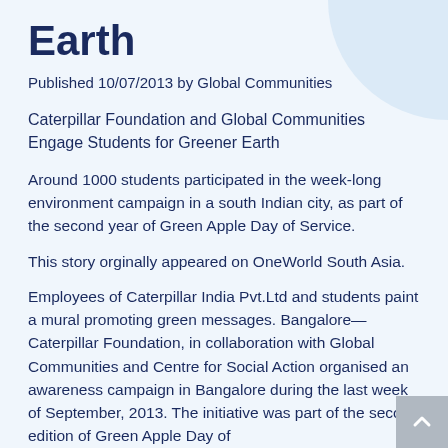Earth
Published 10/07/2013 by Global Communities
Caterpillar Foundation and Global Communities Engage Students for Greener Earth
Around 1000 students participated in the week-long environment campaign in a south Indian city, as part of the second year of Green Apple Day of Service.
This story orginally appeared on OneWorld South Asia.
Employees of Caterpillar India Pvt.Ltd and students paint a mural promoting green messages. Bangalore—Caterpillar Foundation, in collaboration with Global Communities and Centre for Social Action organised an awareness campaign in Bangalore during the last week of September, 2013. The initiative was part of the second edition of Green Apple Day of